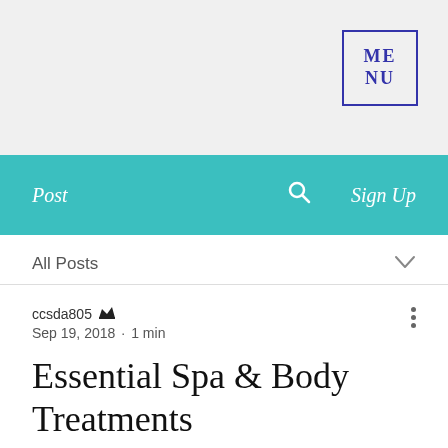MENU
Post  🔍  Sign Up
All Posts
ccsda805 👑
Sep 19, 2018  •  1 min
Essential Spa & Body Treatments
Create a blog post subtitle that summarizes your post in a few short, punchy sentences and entices your audience to continue reading.